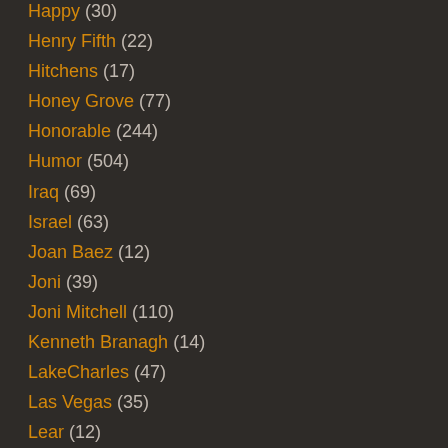Happy (30)
Henry Fifth (22)
Hitchens (17)
Honey Grove (77)
Honorable (244)
Humor (504)
Iraq (69)
Israel (63)
Joan Baez (12)
Joni (39)
Joni Mitchell (110)
Kenneth Branagh (14)
LakeCharles (47)
Las Vegas (35)
Lear (12)
Lenny Bruce (131)
Leonard Cohen (4)
Life (284)
Limericks (8)
Linda Ronstadt (10)
Looney Tunes (5)